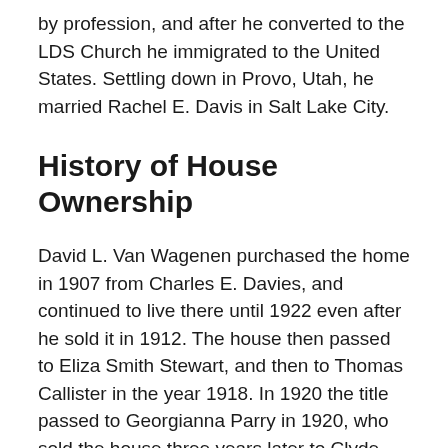by profession, and after he converted to the LDS Church he immigrated to the United States. Settling down in Provo, Utah, he married Rachel E. Davis in Salt Lake City.
History of House Ownership
David L. Van Wagenen purchased the home in 1907 from Charles E. Davies, and continued to live there until 1922 even after he sold it in 1912. The house then passed to Eliza Smith Stewart, and then to Thomas Callister in the year 1918. In 1920 the title passed to Georgianna Parry in 1920, who sold the house three years later to Clyde Bunnell. The Bunnells retained the home until 1929 when the property was attained by Ray Barrett. Madeline Hales purchased the house in 1945, and the very same year sold it to Arthur S. Roberts. The title went to Clark S. Nelson in the Year 1950, where it remained until it was